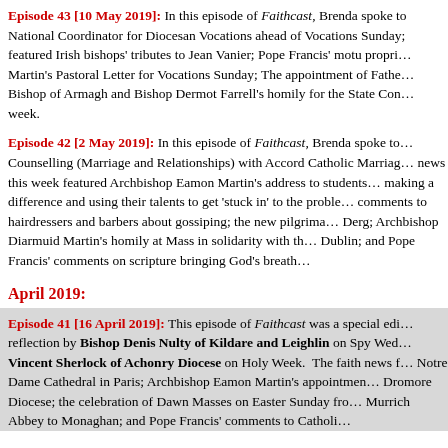Episode 43 [10 May 2019]: In this episode of Faithcast, Brenda spoke to National Coordinator for Diocesan Vocations ahead of Vocations Sunday; featured Irish bishops' tributes to Jean Vanier; Pope Francis' motu propri… Martin's Pastoral Letter for Vocations Sunday; The appointment of Fathe… Bishop of Armagh and Bishop Dermot Farrell's homily for the State Con… week.
Episode 42 [2 May 2019]: In this episode of Faithcast, Brenda spoke to… Counselling (Marriage and Relationships) with Accord Catholic Marriag… news this week featured Archbishop Eamon Martin's address to students… making a difference and using their talents to get 'stuck in' to the proble… comments to hairdressers and barbers about gossiping; the new pilgrima… Derg; Archbishop Diarmuid Martin's homily at Mass in solidarity with th… Dublin; and Pope Francis' comments on scripture bringing God's breath…
April 2019:
Episode 41 [16 April 2019]: This episode of Faithcast was a special edi… reflection by Bishop Denis Nulty of Kildare and Leighlin on Spy Wed… Vincent Sherlock of Achonry Diocese on Holy Week. The faith news f… Notre Dame Cathedral in Paris; Archbishop Eamon Martin's appointmen… Dromore Diocese; the celebration of Dawn Masses on Easter Sunday fro… Murrich Abbey to Monaghan; and Pope Francis' comments to Catholi…